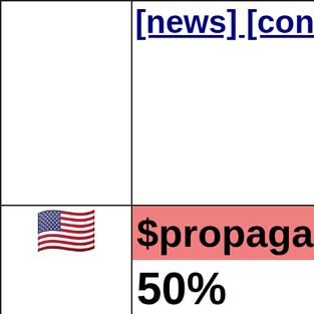[news] [concept (cropped, top row)
$propaganda_ (cropped)
50%
[news] [concept (cropped, bottom row)